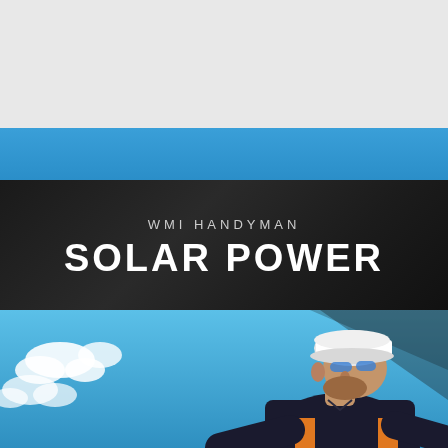WMI HANDYMAN
SOLAR POWER
[Figure (photo): A worker wearing a white hard hat and blue safety glasses leans forward working on a solar panel installation against a blue sky with clouds background]